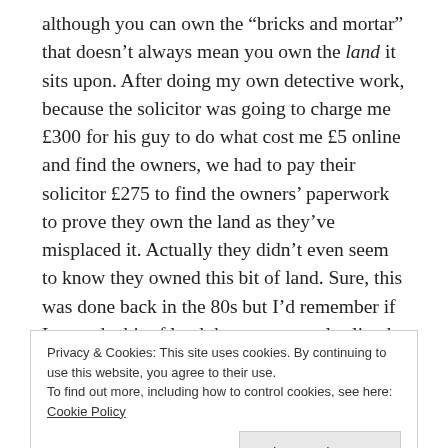although you can own the “bricks and mortar” that doesn’t always mean you own the land it sits upon. After doing my own detective work, because the solicitor was going to charge me £300 for his guy to do what cost me £5 online and find the owners, we had to pay their solicitor £275 to find the owners’ paperwork to prove they own the land as they’ve misplaced it. Actually they didn’t even seem to know they owned this bit of land. Sure, this was done back in the 80s but I’d remember if I owned a bit of land that someone else lived on… Anyway, so based on the size of the land (tiny!) and value of the flat, I’ve been quoted a good £15k more than I
Privacy & Cookies: This site uses cookies. By continuing to use this website, you agree to their use.
To find out more, including how to control cookies, see here: Cookie Policy
It’s a LOT of money. See why I do so much overtime? And